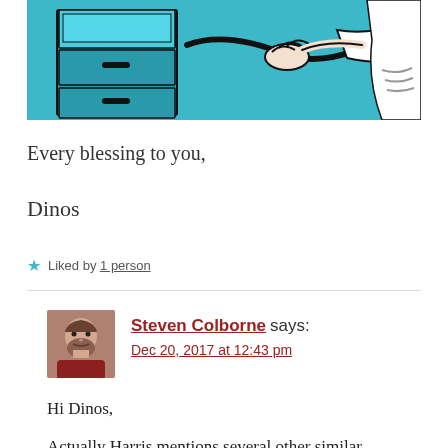[Figure (illustration): Teal and black illustration of a person pointing at or using a filing cabinet or office equipment, retro comic style.]
Every blessing to you,
Dinos
★ Liked by 1 person
Steven Colborne says: Dec 20, 2017 at 12:43 pm
Hi Dinos,
Actually Harris mentions several other similar experiments that have been conducted more